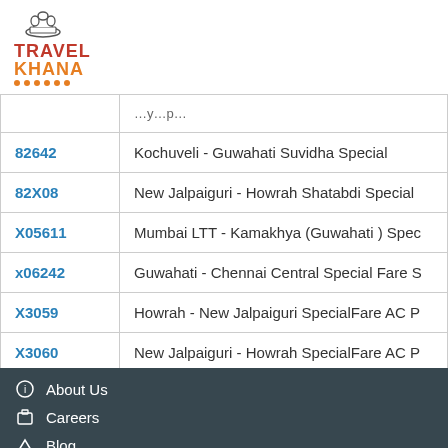[Figure (logo): TravelKhana logo with chef hat icon, red TRAVEL text and orange KHANA text with decorative dots]
| Train No. | Train Name |
| --- | --- |
| 82642 | Kochuveli - Guwahati Suvidha Special |
| 82X08 | New Jalpaiguri - Howrah Shatabdi Special |
| X05611 | Mumbai LTT - Kamakhya (Guwahati ) Spec... |
| x06242 | Guwahati - Chennai Central Special Fare S... |
| X3059 | Howrah - New Jalpaiguri SpecialFare AC P... |
| X3060 | New Jalpaiguri - Howrah SpecialFare AC P... |
About Us
Careers
Blog